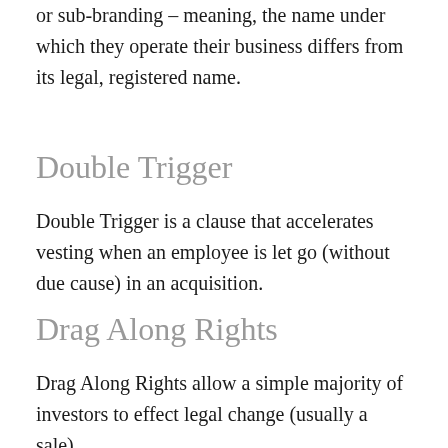or sub-branding – meaning, the name under which they operate their business differs from its legal, registered name.
Double Trigger
Double Trigger is a clause that accelerates vesting when an employee is let go (without due cause) in an acquisition.
Drag Along Rights
Drag Along Rights allow a simple majority of investors to effect legal change (usually a sale).